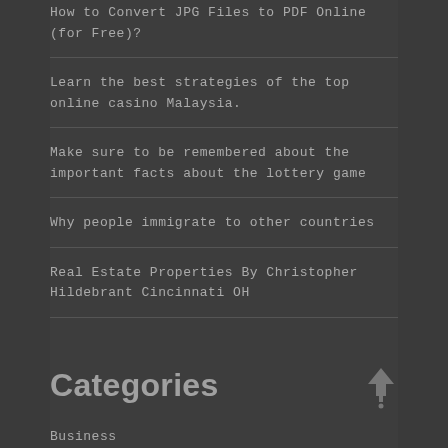How to Convert JPG Files to PDF Online (for Free)?
Learn the best strategies of the top online casino Malaysia.
Make sure to be remembered about the important facts about the lottery game
Why people immigrate to other countries
Real Estate Properties By Christopher Hildebrant Cincinnati OH
Categories
Business